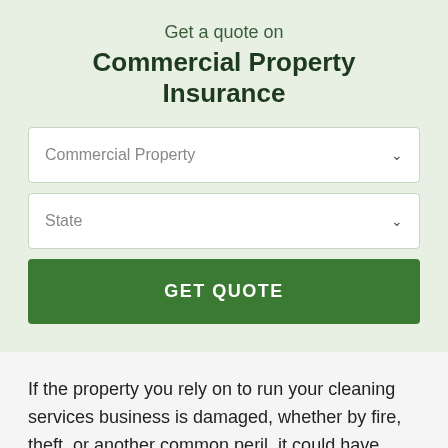Get a quote on
Commercial Property Insurance
Commercial Property
State
GET QUOTE
If the property you rely on to run your cleaning services business is damaged, whether by fire, theft, or another common peril, it could have major financial